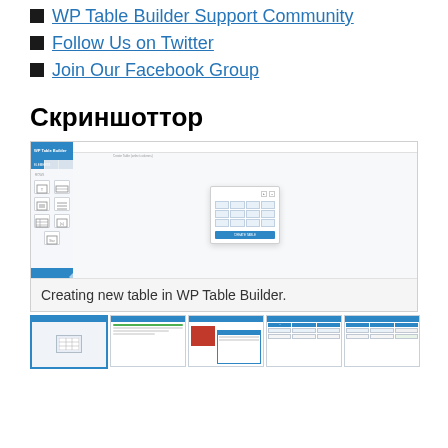Visit WP Table Builder Website
WP Table Builder Support Community
Follow Us on Twitter
Join Our Facebook Group
Скриншоттор
[Figure (screenshot): WP Table Builder plugin UI showing the table creation interface with a sidebar containing element icons (text, image, etc.) on the left and a dialog for creating a new table in the center.]
Creating new table in WP Table Builder.
[Figure (screenshot): Row of 5 thumbnail screenshots of WP Table Builder plugin at the bottom of the page.]